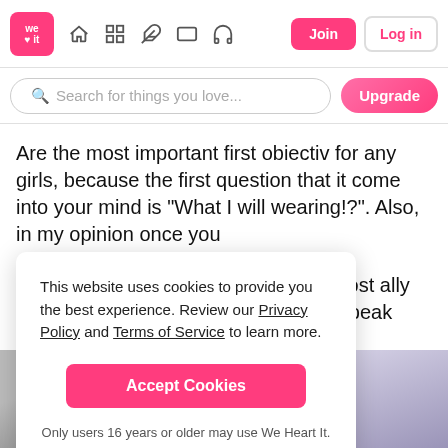We Heart It navigation bar with logo, icons, Join and Log in buttons
Search for things you love...
Are the most important first obiectiv for any girls, because the first question that it come into your mind is "What I will wearing!?". Also, in my opinion once you keup are almost ally queen of the peak later about ike
This website uses cookies to provide you the best experience. Review our Privacy Policy and Terms of Service to learn more.
Accept Cookies
Only users 16 years or older may use We Heart It.
[Figure (photo): Black and white photo of a sparkly/sequined gown]
[Figure (photo): Color photo of a light blue ball gown with ornate backdrop]